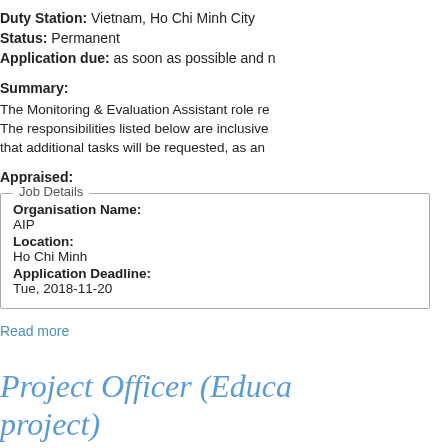Duty Station: Vietnam, Ho Chi Minh City
Status: Permanent
Application due: as soon as possible and n
Summary:
The Monitoring & Evaluation Assistant role re
The responsibilities listed below are inclusive that additional tasks will be requested, as an
Appraised:
| Field | Value |
| --- | --- |
| Organisation Name: | AIP |
| Location: | Ho Chi Minh |
| Application Deadline: | Tue, 2018-11-20 |
Read more
Project Officer (Educa project)
Save the Children's vision is a world t